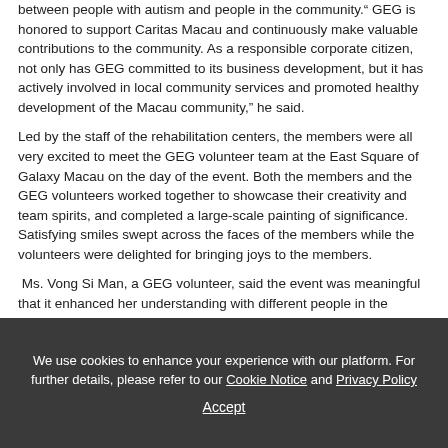between people with autism and people in the community. GEG is honored to support Caritas Macau and continuously make valuable contributions to the community. As a responsible corporate citizen, not only has GEG committed to its business development, but it has actively involved in local community services and promoted healthy development of the Macau community," he said.
Led by the staff of the rehabilitation centers, the members were all very excited to meet the GEG volunteer team at the East Square of Galaxy Macau on the day of the event. Both the members and the GEG volunteers worked together to showcase their creativity and team spirits, and completed a large-scale painting of significance. Satisfying smiles swept across the faces of the members while the volunteers were delighted for bringing joys to the members.
Ms. Vong Si Man, a GEG volunteer, said the event was meaningful that it enhanced her understanding with different people in the community. “I learnt to be content and grateful for what I have through this workshop, and I learned to tackle difficulties and challenges with a smile and a positive mindset,” she added. Apart from this workshop, it also marks the third consecutive year for GEG to sponsor Caritas Macau to hold the prize presentation ceremony and the exhibition of the “Me and My…” painting competition at East Square of Galaxy Macau.
We use cookies to enhance your experience with our platform. For further details, please refer to our Cookie Notice and Privacy Policy
Accept